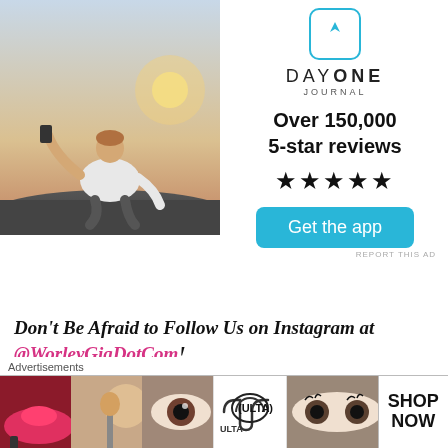[Figure (photo): App advertisement showing 'Day One Journal' with a photo of a man sitting on rocks taking a photo at sunset, app icon, text 'Over 150,000 5-star reviews' with 5 stars, and a 'Get the app' button]
Don’t Be Afraid to Follow Us on Instagram at @WorleyGigDotCom!
SHARE THIS:
[Figure (screenshot): Social media share icons row]
[Figure (advertisement): Ulta Beauty advertisement banner with makeup imagery and 'SHOP NOW' text]